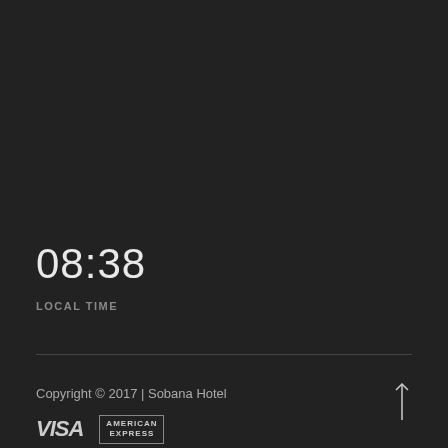08:38
LOCAL TIME
Copyright © 2017 | Sobana Hotel
[Figure (logo): VISA payment logo in light grey]
[Figure (logo): American Express payment logo in light grey]